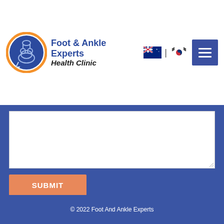[Figure (logo): Foot & Ankle Experts Health Clinic logo with circular orange and blue emblem featuring a foot/ankle bone illustration]
[Figure (other): Australian and South Korean flag icons with a vertical divider between them]
[Figure (other): Blue hamburger menu button with three horizontal white lines]
[Figure (other): White text area input box with resize handle at bottom right]
SUBMIT
© 2022 Foot And Ankle Experts